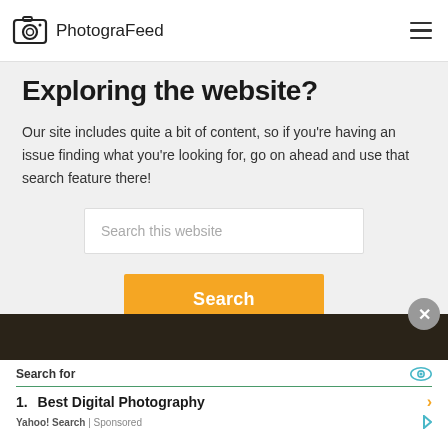PhotograFeed
Exploring the website?
Our site includes quite a bit of content, so if you're having an issue finding what you're looking for, go on ahead and use that search feature there!
[Figure (screenshot): Search box with placeholder text 'Search this website' and an orange Search button below it]
Search for | 1. Best Digital Photography | Yahoo! Search | Sponsored